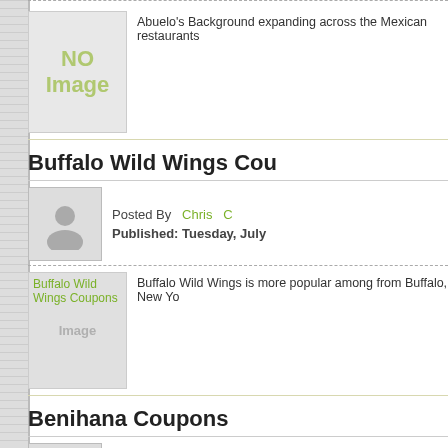[Figure (other): No image placeholder thumbnail for Abuelo's article]
Abuelo's Background expanding across the Mexican restaurants
Buffalo Wild Wings Coupons
[Figure (photo): User avatar/profile picture placeholder]
Posted By  Chris  C
Published: Tuesday, July
[Figure (photo): Buffalo Wild Wings Coupons image thumbnail with link]
Buffalo Wild Wings is more popular among from Buffalo, New Yo
Benihana Coupons
[Figure (photo): User avatar/profile picture placeholder]
Posted By  Chris  C
Published: Friday, July 3,